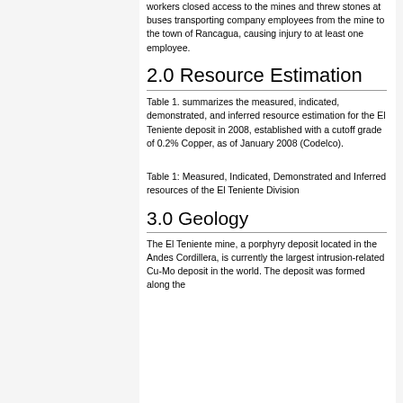workers closed access to the mines and threw stones at buses transporting company employees from the mine to the town of Rancagua, causing injury to at least one employee.
2.0 Resource Estimation
Table 1. summarizes the measured, indicated, demonstrated, and inferred resource estimation for the El Teniente deposit in 2008, established with a cutoff grade of 0.2% Copper, as of January 2008 (Codelco).
Table 1: Measured, Indicated, Demonstrated and Inferred resources of the El Teniente Division
3.0 Geology
The El Teniente mine, a porphyry deposit located in the Andes Cordillera, is currently the largest intrusion-related Cu-Mo deposit in the world. The deposit was formed along the